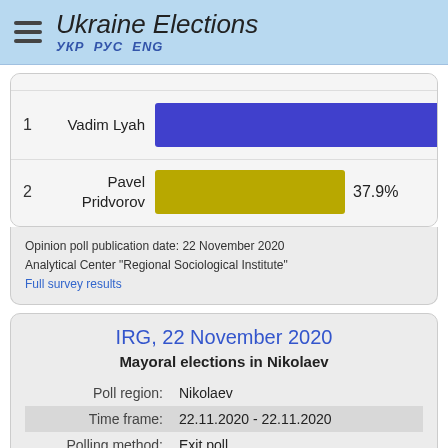Ukraine Elections УКР РУС ENG
[Figure (bar-chart): Mayoral elections results]
Opinion poll publication date: 22 November 2020
Analytical Center "Regional Sociological Institute"
Full survey results
IRG, 22 November 2020
Mayoral elections in Nikolaev
| Field | Value |
| --- | --- |
| Poll region: | Nikolaev |
| Time frame: | 22.11.2020 - 22.11.2020 |
| Polling method: | Exit poll |